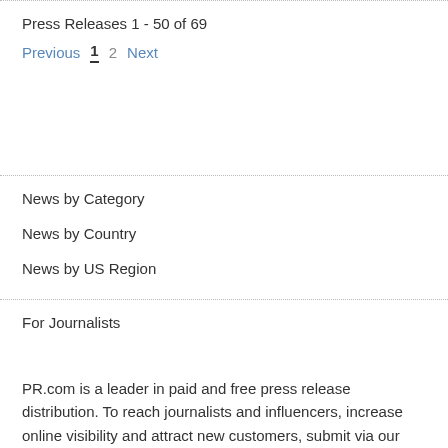Press Releases 1 - 50 of 69
Previous  1  2  Next
News by Category
News by Country
News by US Region
For Journalists
PR.com is a leader in paid and free press release distribution. To reach journalists and influencers, increase online visibility and attract new customers, submit via our global news and press release distribution